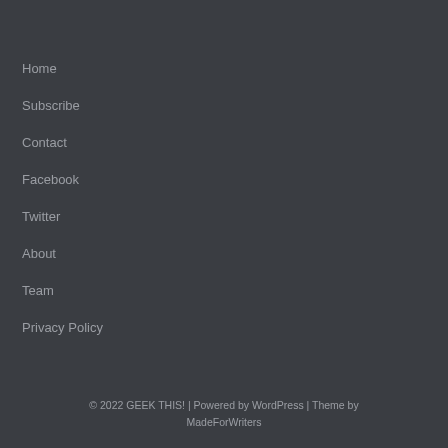Home
Subscribe
Contact
Facebook
Twitter
About
Team
Privacy Policy
© 2022 GEEK THIS! | Powered by WordPress | Theme by MadeForWriters